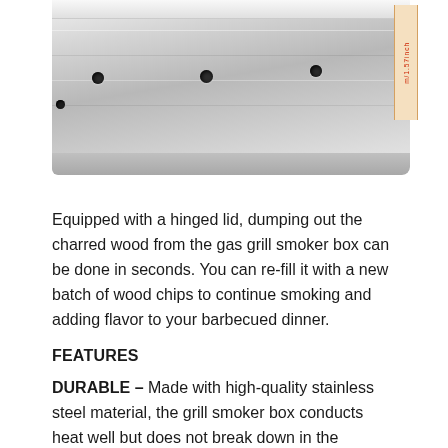[Figure (photo): Close-up photo of a stainless steel smoker box with holes and a measurement ruler tag on the right side]
Equipped with a hinged lid, dumping out the charred wood from the gas grill smoker box can be done in seconds. You can re-fill it with a new batch of wood chips to continue smoking and adding flavor to your barbecued dinner.
FEATURES
DURABLE – Made with high-quality stainless steel material, the grill smoker box conducts heat well but does not break down in the process. Withstanding extreme heat, the wood chip smoker box will be able to smoke your meat for a very long time.
EASY TO USE – With a bag of wood chips in one hand